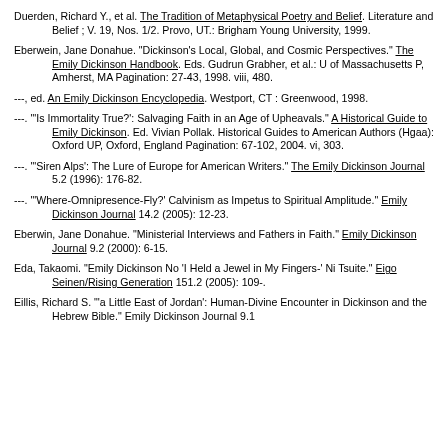Duerden, Richard Y., et al. The Tradition of Metaphysical Poetry and Belief. Literature and Belief ; V. 19, Nos. 1/2. Provo, UT.: Brigham Young University, 1999.
Eberwein, Jane Donahue. "Dickinson's Local, Global, and Cosmic Perspectives." The Emily Dickinson Handbook. Eds. Gudrun Grabher, et al.: U of Massachusetts P, Amherst, MA Pagination: 27-43, 1998. viii, 480.
---, ed. An Emily Dickinson Encyclopedia. Westport, CT : Greenwood, 1998.
---. "'Is Immortality True?': Salvaging Faith in an Age of Upheavals." A Historical Guide to Emily Dickinson. Ed. Vivian Pollak. Historical Guides to American Authors (Hgaa): Oxford UP, Oxford, England Pagination: 67-102, 2004. vi, 303.
---. "'Siren Alps': The Lure of Europe for American Writers." The Emily Dickinson Journal 5.2 (1996): 176-82.
---. "'Where-Omnipresence-Fly?' Calvinism as Impetus to Spiritual Amplitude." Emily Dickinson Journal 14.2 (2005): 12-23.
Eberwin, Jane Donahue. "Ministerial Interviews and Fathers in Faith." Emily Dickinson Journal 9.2 (2000): 6-15.
Eda, Takaomi. "Emily Dickinson No 'I Held a Jewel in My Fingers-' Ni Tsuite." Eigo Seinen/Rising Generation 151.2 (2005): 109-.
Eillis, Richard S. "'a Little East of Jordan': Human-Divine Encounter in Dickinson and the Hebrew Bible." Emily Dickinson Journal 9.1